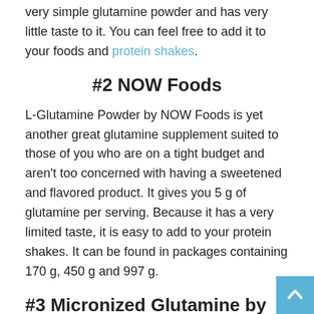very simple glutamine powder and has very little taste to it. You can feel free to add it to your foods and protein shakes.
#2 NOW Foods
L-Glutamine Powder by NOW Foods is yet another great glutamine supplement suited to those of you who are on a tight budget and aren't too concerned with having a sweetened and flavored product. It gives you 5 g of glutamine per serving. Because it has a very limited taste, it is easy to add to your protein shakes. It can be found in packages containing 170 g, 450 g and 997 g.
#3 Micronized Glutamine by Dymatize
This has a more effective absorption. It provides 4.5 g of micronized glutamine per serving. They offer packages in the 300 g, 500 g and 1000 g sizes. You likely want to purchase as